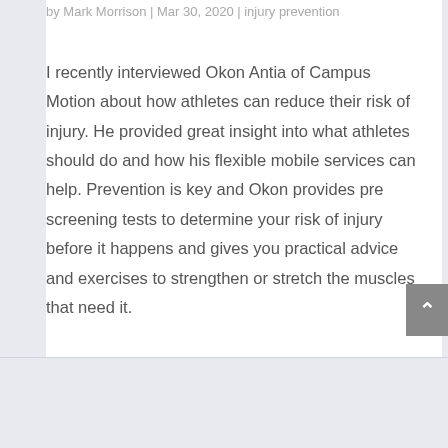by Mark Morrison | Mar 30, 2020 | injury prevention
I recently interviewed Okon Antia of Campus Motion about how athletes can reduce their risk of injury. He provided great insight into what athletes should do and how his flexible mobile services can help. Prevention is key and Okon provides pre screening tests to determine your risk of injury before it happens and gives you practical advice and exercises to strengthen or stretch the muscles that need it.